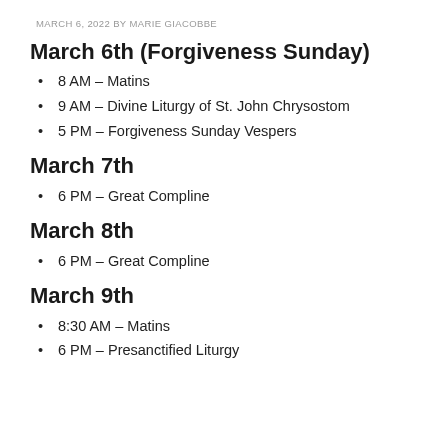MARCH 6, 2022 BY MARIE GIACOBBE
March 6th (Forgiveness Sunday)
8 AM – Matins
9 AM – Divine Liturgy of St. John Chrysostom
5 PM – Forgiveness Sunday Vespers
March 7th
6 PM – Great Compline
March 8th
6 PM – Great Compline
March 9th
8:30 AM – Matins
6 PM – Presanctified Liturgy